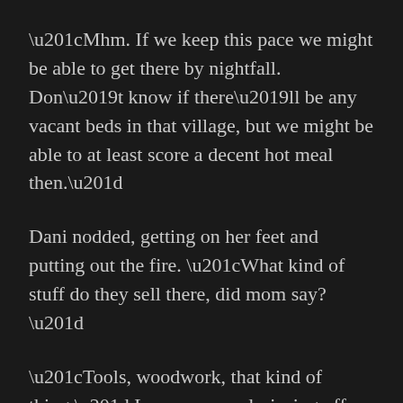“Mhm. If we keep this pace we might be able to get there by nightfall. Don’t know if there’ll be any vacant beds in that village, but we might be able to at least score a decent hot meal then.”
Dani nodded, getting on her feet and putting out the fire. “What kind of stuff do they sell there, did mom say?”
“Tools, woodwork, that kind of thing,” Lena answered, rinsing off the pan and storing it away in her bag. “If you want to buy stuff for yourself, I hope you brought your own gold.”
“Of course I did.” Dani patted her hip where her coin purse was hanging. “I want to maybe get something for Sarah. If they have animal carvings